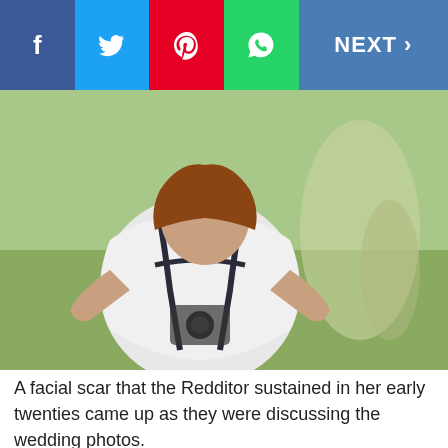[Figure (screenshot): Social media share toolbar with Facebook (blue), Twitter (light blue), Pinterest (red), WhatsApp (green) buttons and NEXT > button on the right]
[Figure (photo): A person in a white top crouching on grass outdoors, back turned to camera, holding a camera or similar object]
A facial scar that the Redditor sustained in her early twenties came up as they were discussing the wedding photos.
Aaron suggested having this area of her face photoshopped. She initially thought he was joking, but he said he was serious.
She felt taken aback, but he explained “that this is